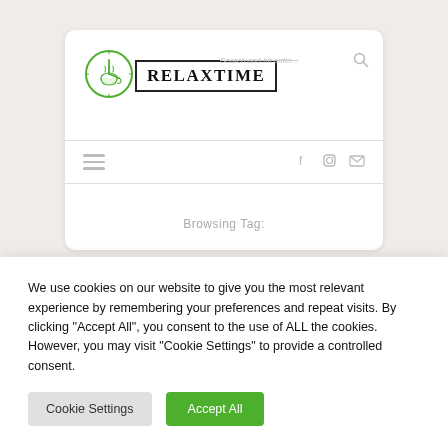[Figure (logo): RelaxTime website header with circular clock logo and RELAXTIME text in bordered box, search hint text, search icon]
[Figure (infographic): Navigation bar with hamburger menu icon on left and social icons (Facebook, Instagram, Email) on right]
Browsing Tag:
We use cookies on our website to give you the most relevant experience by remembering your preferences and repeat visits. By clicking “Accept All”, you consent to the use of ALL the cookies. However, you may visit "Cookie Settings" to provide a controlled consent.
Cookie Settings
Accept All